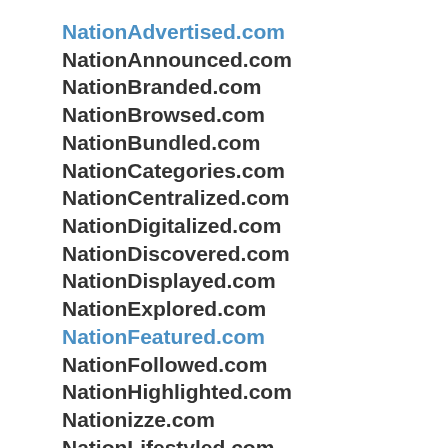NationAdvertised.com
NationAnnounced.com
NationBranded.com
NationBrowsed.com
NationBundled.com
NationCategories.com
NationCentralized.com
NationDigitalized.com
NationDiscovered.com
NationDisplayed.com
NationExplored.com
NationFeatured.com
NationFollowed.com
NationHighlighted.com
Nationizze.com
NationLifestyled.com
NationLiked.com
NationListed.com
NationLived.com